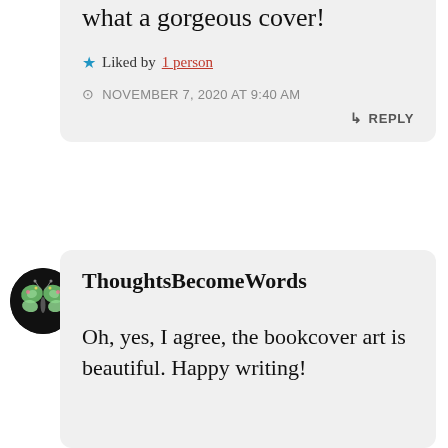what a gorgeous cover!
★ Liked by 1 person
NOVEMBER 7, 2020 AT 9:40 AM
↳ REPLY
[Figure (photo): Circular avatar with a butterfly brooch on black background]
ThoughtsBecomeWords
Oh, yes, I agree, the bookcover art is beautiful. Happy writing!